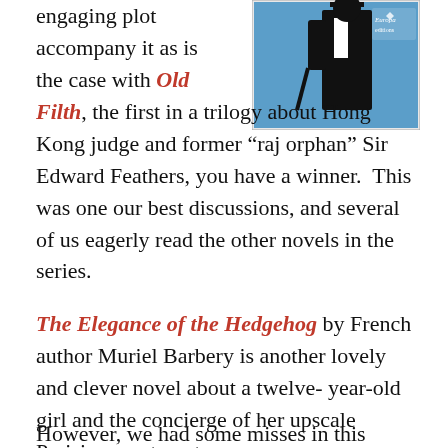engaging plot accompany it as is the case with Old Filth, the first in a trilogy about Hong Kong judge and former “raj orphan” Sir Edward Feathers, you have a winner.  This was one our best discussions, and several of us eagerly read the other novels in the series.
[Figure (illustration): Book cover of Old Filth by Jane Gardam, published by Europa Editions. Blue, black and white illustration of a figure.]
The Elegance of the Hedgehog by French author Muriel Barbery is another lovely and clever novel about a twelve- year-old girl and the concierge of her upscale Parisian apartment.
However, we had some misses in this category.  A